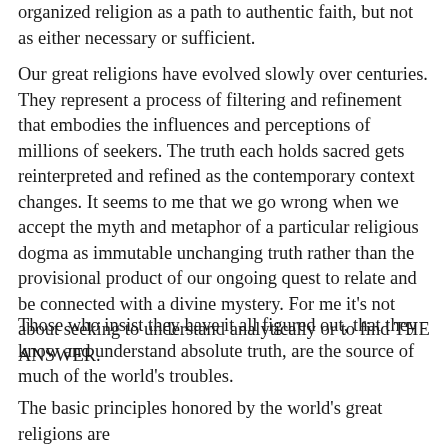organized religion as a path to authentic faith, but not as either necessary or sufficient.
Our great religions have evolved slowly over centuries. They represent a process of filtering and refinement that embodies the influences and perceptions of millions of seekers. The truth each holds sacred gets reinterpreted and refined as the contemporary context changes. It seems to me that we go wrong when we accept the myth and metaphor of a particular religious dogma as immutable unchanging truth rather than the provisional product of our ongoing quest to relate and be connected with a divine mystery. For me it's not about seeking to understand analytically or to find THE ANSWER.
Those who insist they have it all figured out, that they know and understand absolute truth, are the source of much of the world's troubles.
The basic principles honored by the world's great religions are